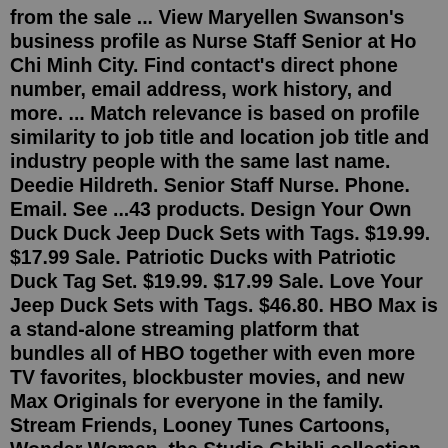from the sale ... View Maryellen Swanson's business profile as Nurse Staff Senior at Ho Chi Minh City. Find contact's direct phone number, email address, work history, and more. ... Match relevance is based on profile similarity to job title and location job title and industry people with the same last name. Deedie Hildreth. Senior Staff Nurse. Phone. Email. See ...43 products. Design Your Own Duck Duck Jeep Duck Sets with Tags. $19.99. $17.99 Sale. Patriotic Ducks with Patriotic Duck Tag Set. $19.99. $17.99 Sale. Love Your Jeep Duck Sets with Tags. $46.80. HBO Max is a stand-alone streaming platform that bundles all of HBO together with even more TV favorites, blockbuster movies, and new Max Originals for everyone in the family. Stream Friends, Looney Tunes Cartoons, Wonder Woman, the Studio Ghibli collection, and so much more.. HBO is the streaming option for all of HBO, including original series, movies, specials, and more.Here are some cool and badass car club names and name ideas. Car RamRod.